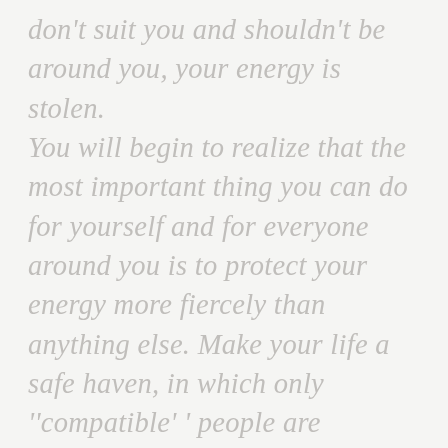don't suit you and shouldn't be around you, your energy is stolen. You will begin to realize that the most important thing you can do for yourself and for everyone around you is to protect your energy more fiercely than anything else. Make your life a safe haven, in which only ''compatible'' people are allowed. You are not responsible for saving anyone. You are not responsible for convincing them to improve. It's not your work to exist for people and give